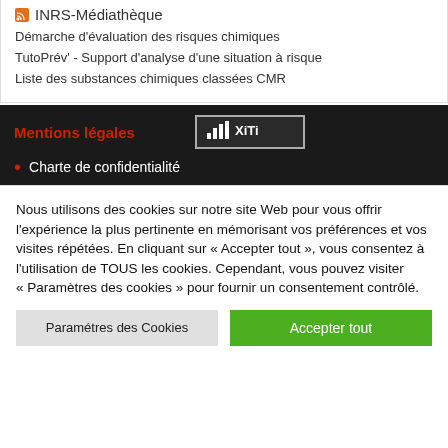INRS-Médiathèque
Démarche d'évaluation des risques chimiques
TutoPrév' - Support d'analyse d'une situation à risque
Liste des substances chimiques classées CMR
Mentions légales
Charte de confidentialité
Nous utilisons des cookies sur notre site Web pour vous offrir l'expérience la plus pertinente en mémorisant vos préférences et vos visites répétées. En cliquant sur « Accepter tout », vous consentez à l'utilisation de TOUS les cookies. Cependant, vous pouvez visiter « Paramètres des cookies » pour fournir un consentement contrôlé.
Paramétres des Cookies | Accepter tout